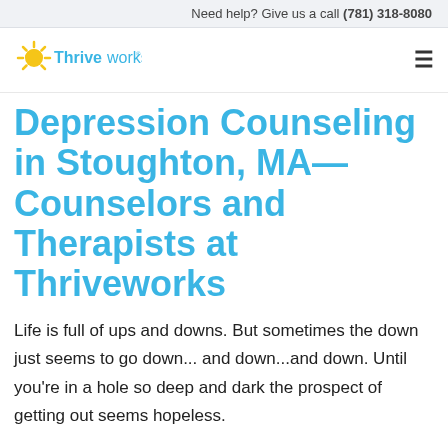Need help? Give us a call (781) 318-8080
[Figure (logo): Thriveworks logo with yellow sun/rays graphic and blue 'Thriveworks' text]
Depression Counseling in Stoughton, MA—Counselors and Therapists at Thriveworks
Life is full of ups and downs. But sometimes the down just seems to go down... and down...and down. Until you're in a hole so deep and dark the prospect of getting out seems hopeless.